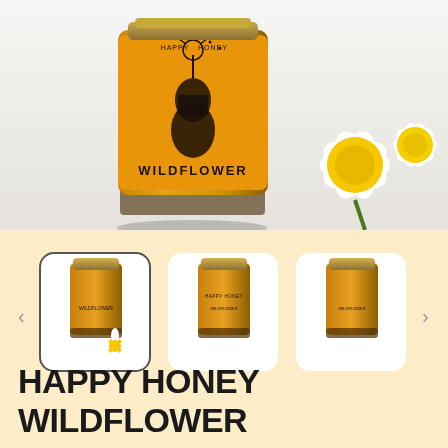[Figure (photo): Close-up of a Happy Honey Wildflower honey jar with an amber/golden label showing a hand holding a vase with a dandelion, text reads WILDFLOWER. A yellow and white flower is in the background right.]
[Figure (photo): Thumbnail strip showing three small images of the Happy Honey Wildflower honey jar product from different angles, with left and right navigation arrows.]
HAPPY HONEY
WILDFLOWER